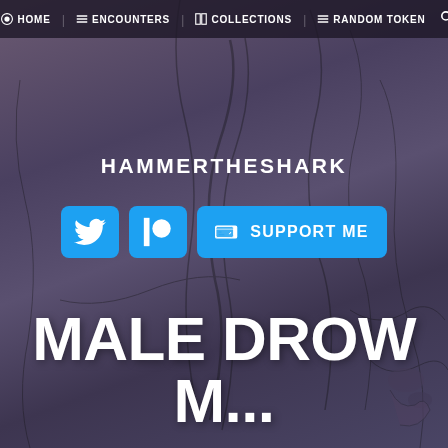HOME | ENCOUNTERS | COLLECTIONS | RANDOM TOKEN
HAMMERTHESHARK
SUPPORT ME
MALE DROW M...
DARK ELF
DROW
ELF
FANTASY
MERCHANT
NOBLE
SORCERER
UNDERDARK
WARLOCK
WIZARD
...